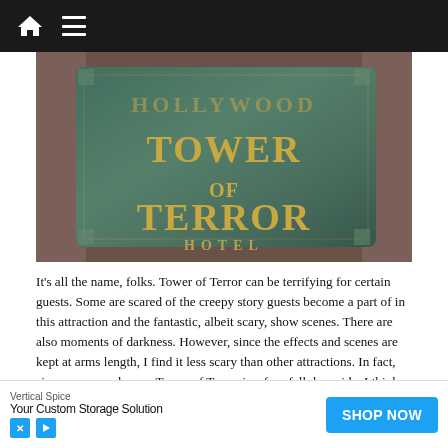[Figure (photo): Close-up photo of the Hollywood Tower Hotel Tower of Terror attraction sign, a weathered bronze/green plaque with gold lettering reading 'TOWER OF TERROR HOTEL']
It’s all the name, folks. Tower of Terror can be terrifying for certain guests. Some are scared of the creepy story guests become a part of in this attraction and the fantastic, albeit scary, show scenes. There are also moments of darkness. However, since the effects and scenes are kept at arms length, I find it less scary than other attractions. In fact, since everyone knows Tower of Terror is a free-fall drop ride, I think the scariest part of the attraction is anticipating when the will drops begin!
[Figure (advertisement): Ad banner for Vertical Spice: 'Your Custom Storage Solution' with SHOP NOW button]